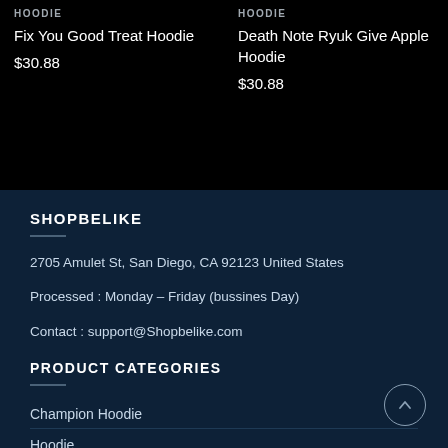HOODIE
Fix You Good Treat Hoodie
$30.88
HOODIE
Death Note Ryuk Give Apple Hoodie
$30.88
SHOPBELIKE
2705 Amulet St, San Diego, CA 92123 United States
Processed : Monday – Friday (bussines Day)
Contact : support@Shopbelike.com
PRODUCT CATEGORIES
Champion Hoodie
Hoodie